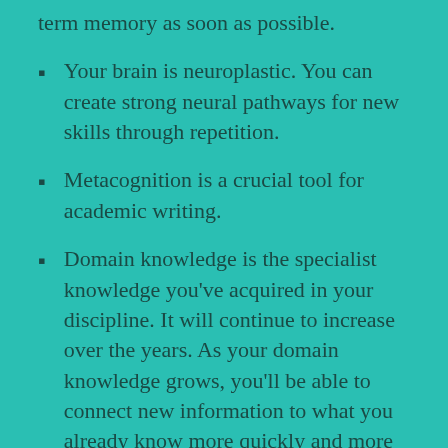term memory as soon as possible.
Your brain is neuroplastic. You can create strong neural pathways for new skills through repetition.
Metacognition is a crucial tool for academic writing.
Domain knowledge is the specialist knowledge you've acquired in your discipline. It will continue to increase over the years. As your domain knowledge grows, you'll be able to connect new information to what you already know more quickly and more efficiently.